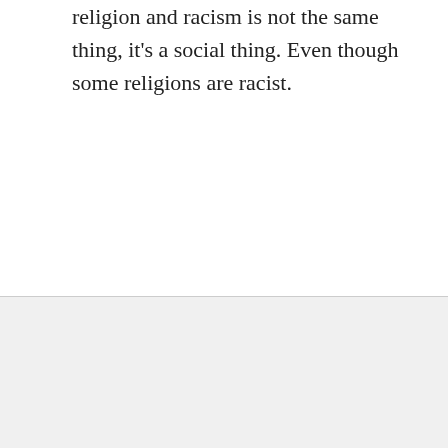religion and racism is not the same thing, it's a social thing. Even though some religions are racist.
Reply
Jaroslav Losos says
September 16, 2019 at 1:27 am
Don't Miss Any Of Our Best Maps!
Join our free, weekly 'Top 10 Brilliant Maps Of The Week' updates:
Enter your email address
Yes, Send Me More Brilliant Maps